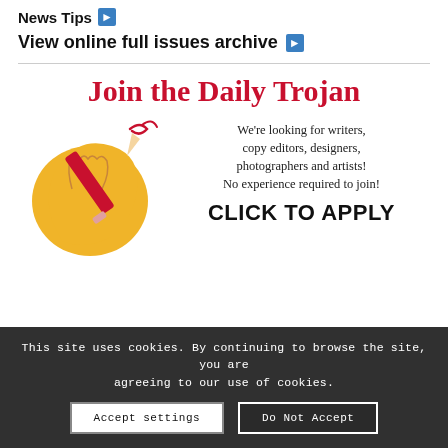News Tips ➡
View online full issues archive ➡
[Figure (illustration): Join the Daily Trojan recruitment advertisement with a hand holding a pencil illustration, red bold title 'Join the Daily Trojan', text about looking for writers, copy editors, designers, photographers and artists, and a CLICK TO APPLY call-to-action]
This site uses cookies. By continuing to browse the site, you are agreeing to our use of cookies.
Accept settings
Do Not Accept